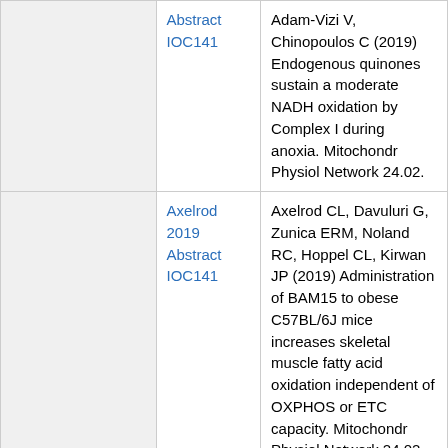|  | Reference | Citation |
| --- | --- | --- |
|  | Abstract IOC141 | Adam-Vizi V, Chinopoulos C (2019) Endogenous quinones sustain a moderate NADH oxidation by Complex I during anoxia. Mitochondr Physiol Network 24.02. |
|  | Axelrod 2019 Abstract IOC141 | Axelrod CL, Davuluri G, Zunica ERM, Noland RC, Hoppel CL, Kirwan JP (2019) Administration of BAM15 to obese C57BL/6J mice increases skeletal muscle fatty acid oxidation independent of OXPHOS or ETC capacity. Mitochondr Physiol Network 24.02. |
|  |  | Revenco I, Lismont C, Baes M, Van Veldhoven |